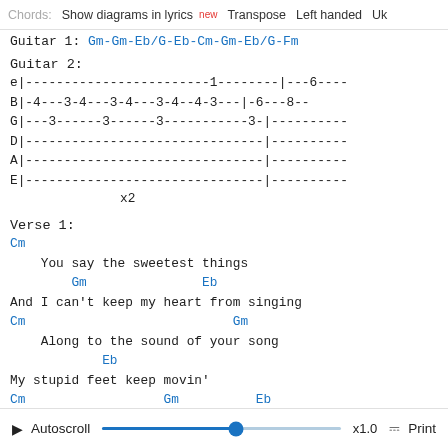Chords: Show diagrams in lyrics [new] Transpose Left handed Uk
Guitar 1: Gm-Gm-Eb/G-Eb-Cm-Gm-Eb/G-Fm
Guitar 2:
e|------------------------1--------  |---6----
B|-4---3-4---3-4---3-4--4-3---  |-6---8--
G|---3------3------3-----------3-  |----------
D|-------------------------------  |----------
A|-------------------------------  |----------
E|-------------------------------  |----------
                    x2
Verse 1:
Cm
    You say the sweetest things
        Gm               Eb
And I can't keep my heart from singing
Cm                           Gm
    Along to the sound of your song
            Eb
My stupid feet keep movin'
Cm                  Gm          Eb